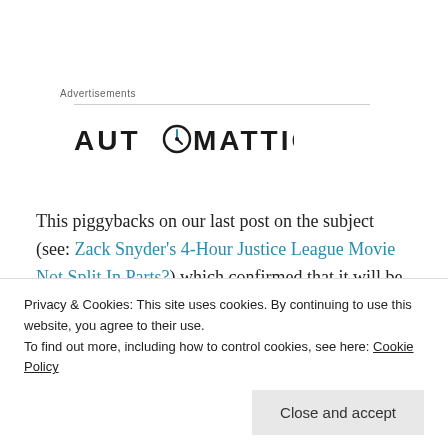Advertisements
[Figure (logo): Automattic logo — company name in bold black uppercase letters with a compass/clock icon replacing the letter O]
This piggybacks on our last post on the subject (see: Zack Snyder's 4-Hour Justice League Movie Not Split In Parts?) which confirmed that it will be a very, very, very, very, very long feature film.
Privacy & Cookies: This site uses cookies. By continuing to use this website, you agree to their use.
To find out more, including how to control cookies, see here: Cookie Policy
Close and accept
expectations. Will it be cool? Entertaining?